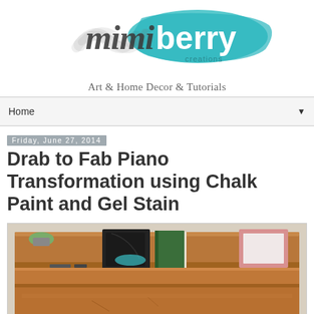[Figure (logo): Mimiberry Creations logo — pencil-sketched cursive 'mimi' in dark gray with 'berry' in large teal brushstroke font, 'creations' below in small gray text]
Art & Home Decor & Tutorials
Home ▼
Friday, June 27, 2014
Drab to Fab Piano Transformation using Chalk Paint and Gel Stain
[Figure (photo): Before photo of an upright wood piano in honey-brown/orange finish with various items on top including books, a frame, and small objects]